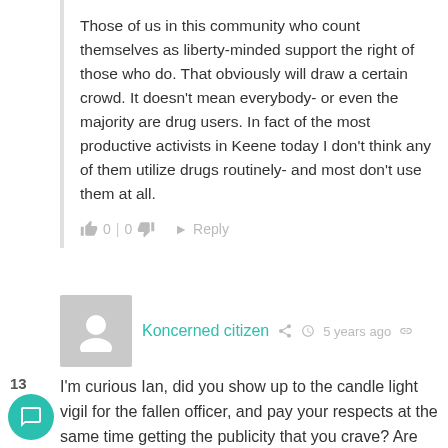Those of us in this community who count themselves as liberty-minded support the right of those who do. That obviously will draw a certain crowd. It doesn't mean everybody- or even the majority are drug users. In fact of the most productive activists in Keene today I don't think any of them utilize drugs routinely- and most don't use them at all.
0 | 0  Reply
Koncerned citizen  5 years ago
I'm curious Ian, did you show up to the candle light vigil for the fallen officer, and pay your respects at the same time getting the publicity that you crave? Are you going to pay your respects at his wake or funeral? As a true Canblockerthat you say you are...